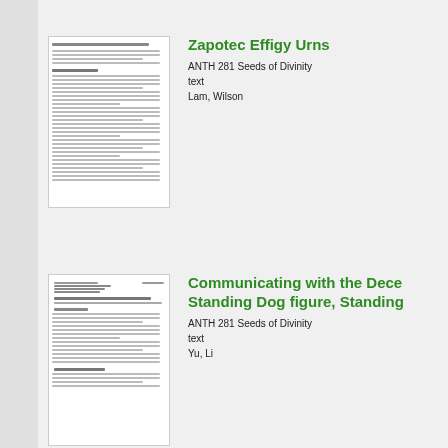[Figure (screenshot): Thumbnail of document page for Zapotec Effigy Urns paper]
Zapotec Effigy Urns
ANTH 281 Seeds of Divinity
text
Lam, Wilson
[Figure (screenshot): Thumbnail of document page for Communicating with the Deceased paper]
Communicating with the Deceased: Standing Dog figure, Standing
ANTH 281 Seeds of Divinity
text
Yu, Li